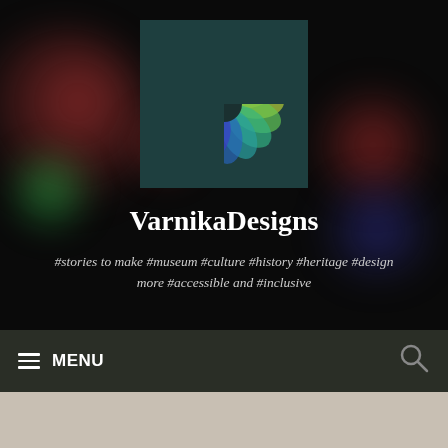[Figure (logo): VarnikaDesigns logo: colorful mandala/flower made of overlapping petals in rainbow colors on a dark teal background square]
VarnikaDesigns
#stories to make #museum #culture #history #heritage #design more #accessible and #inclusive
[Figure (screenshot): Navigation bar with hamburger menu icon and MENU text on left, search icon on right, dark olive background]
[Figure (screenshot): Content area below nav bar: beige/tan background with white card partially visible]